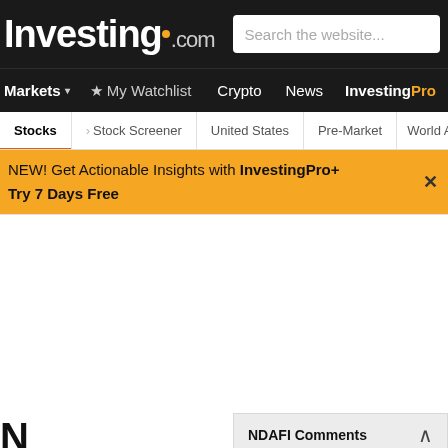Investing.com | Search the website...
Markets | My Watchlist | Crypto | News | InvestingPro
Stocks | Stock Screener | United States | Pre-Market | World ADRs | M
NEW! Get Actionable Insights with InvestingPro+
Try 7 Days Free
NDAFI Comments